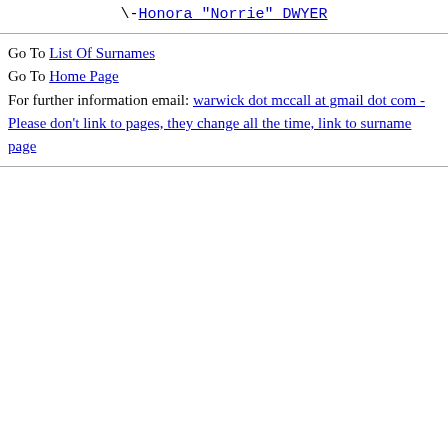\-Honora "Norrie" DWYER
Go To List Of Surnames
Go To Home Page
For further information email: warwick dot mccall at gmail dot com - Please don't link to pages, they change all the time, link to surname page